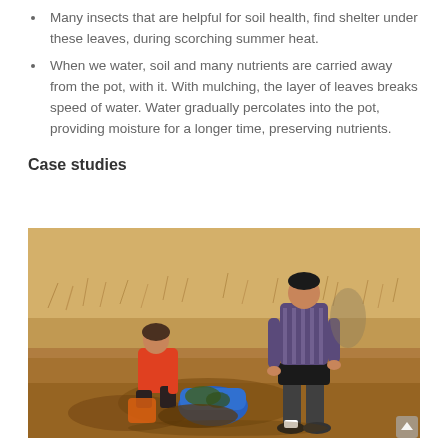Many insects that are helpful for soil health, find shelter under these leaves, during scorching summer heat.
When we water, soil and many nutrients are carried away from the pot, with it. With mulching, the layer of leaves breaks speed of water. Water gradually percolates into the pot, providing moisture for a longer time, preserving nutrients.
Case studies
[Figure (photo): Two people outdoors on dry ground. One person in a red top is crouching down and planting or working with soil near a blue bag. Another taller person in a dark top and shorts stands nearby watching or assisting.]